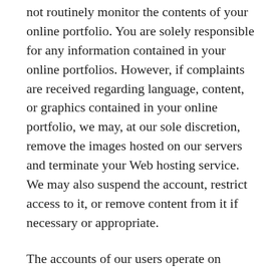not routinely monitor the contents of your online portfolio. You are solely responsible for any information contained in your online portfolios. However, if complaints are received regarding language, content, or graphics contained in your online portfolio, we may, at our sole discretion, remove the images hosted on our servers and terminate your Web hosting service. We may also suspend the account, restrict access to it, or remove content from it if necessary or appropriate.
The accounts of our users operate on shared resources. Excessive use or abuse of these shared network resources by one user may have a negative impact on all other users. Misuse of network resources in a manner that impairs network performance, including excessive consumption of CPU time, memory, disk space, and session time, is